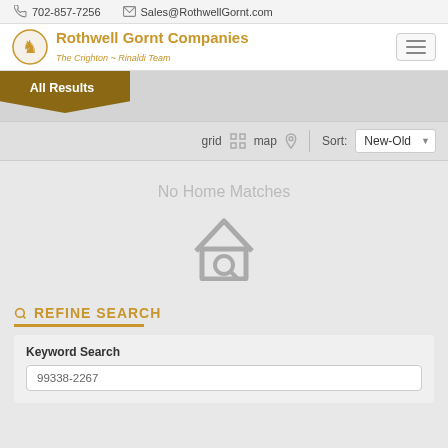702-857-7256   Sales@RothwellGornt.com
[Figure (logo): Rothwell Gornt Companies logo with knight chess piece icon, company name in gold, subtitle 'The Crighton ~ Rinaldi Team' in italic gold]
All Results
grid   map   Sort:  New-Old
No Home Matches
REFINE SEARCH
Keyword Search
99338-2267